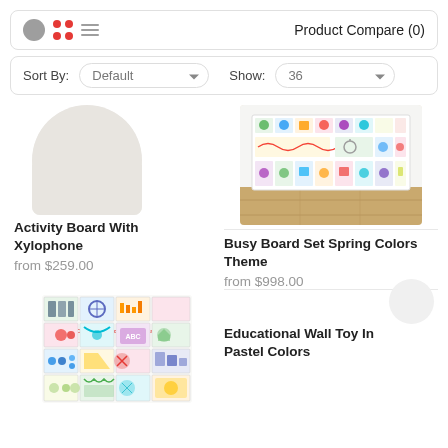Product Compare (0)
Sort By: Default   Show: 36
[Figure (screenshot): Partially visible product image of Activity Board with Xylophone (cut off on left)]
Activity Board With Xylophone
from $259.00
[Figure (photo): Colorful busy board set with spring colors theme displayed on wooden floor against white wall]
Busy Board Set Spring Colors Theme
from $998.00
[Figure (photo): Educational toy product image with text Construct your own Sensory wall, showing various colorful activity panels]
Educational Wall Toy In Pastel Colors